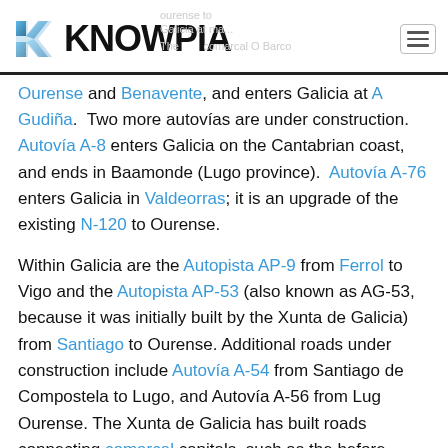KNOWPIA
Ourense and Benavente, and enters Galicia at A Gudiña. Two more autovías are under construction. Autovía A-8 enters Galicia on the Cantabrian coast, and ends in Baamonde (Lugo province). Autovía A-76 enters Galicia in Valdeorras; it is an upgrade of the existing N-120 to Ourense.
Within Galicia are the Autopista AP-9 from Ferrol to Vigo and the Autopista AP-53 (also known as AG-53, because it was initially built by the Xunta de Galicia) from Santiago to Ourense. Additional roads under construction include Autovía A-54 from Santiago de Compostela to Lugo, and Autovía A-56 from Lugo to Ourense. The Xunta de Galicia has built roads connecting comarcal capitals, such as the before